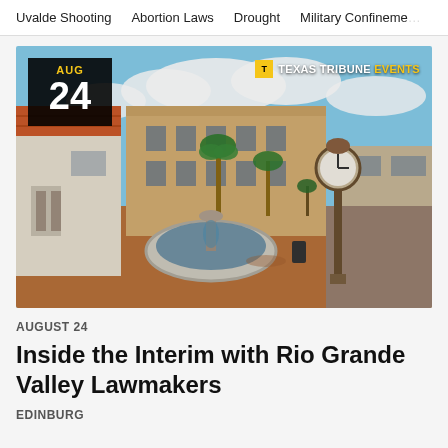Uvalde Shooting   Abortion Laws   Drought   Military Confinement
[Figure (photo): Town square in Edinburg, Texas featuring a fountain in the foreground, a decorative street clock on the right, a yellow multi-story building in the background, palm trees, and a small building with an orange tile roof on the left. Blue sky with clouds overhead. Overlays: date badge 'AUG 24' and 'TEXAS TRIBUNE EVENTS' logo in top corners.]
AUGUST 24
Inside the Interim with Rio Grande Valley Lawmakers
EDINBURG